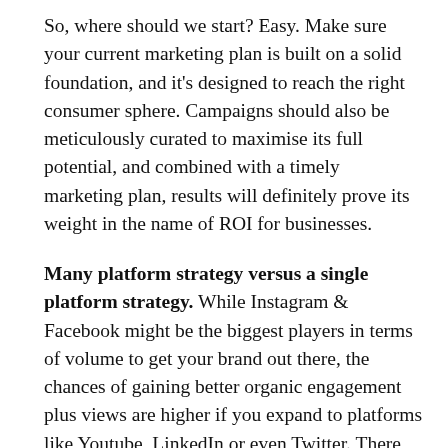So, where should we start? Easy. Make sure your current marketing plan is built on a solid foundation, and it's designed to reach the right consumer sphere. Campaigns should also be meticulously curated to maximise its full potential, and combined with a timely marketing plan, results will definitely prove its weight in the name of ROI for businesses.
Many platform strategy versus a single platform strategy. While Instagram & Facebook might be the biggest players in terms of volume to get your brand out there, the chances of gaining better organic engagement plus views are higher if you expand to platforms like Youtube, LinkedIn or even Twitter. There are two schools of thought here though. One says that you should spread your content across several social media platforms as early as possible. The other camp says that while content on many platforms is ideal, the initial approach should